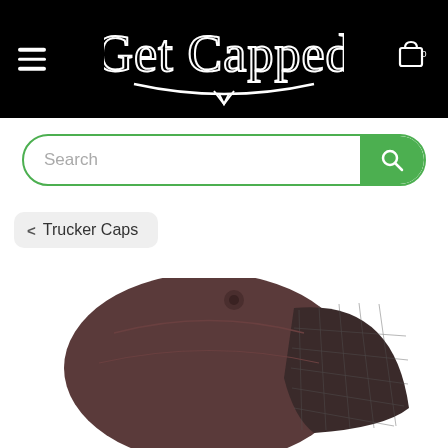Get Capped — navigation header with hamburger menu and cart
Search
< Trucker Caps
[Figure (photo): Dark brownish-purple trucker cap shown from the back, displaying mesh panel and structured crown against a white background.]